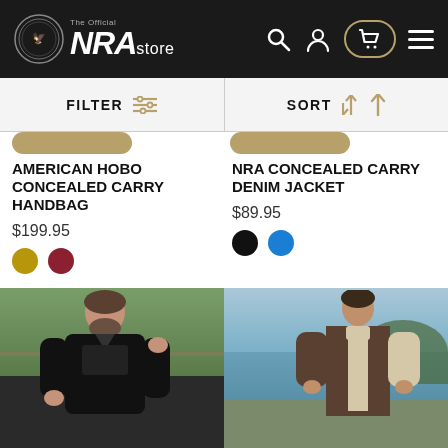[Figure (screenshot): NRA Store website header with logo, search, account, cart, and menu icons on dark background]
FILTER   SORT
AMERICAN HOBO CONCEALED CARRY HANDBAG
$199.95
NRA CONCEALED CARRY DENIM JACKET
$89.95
[Figure (photo): Man wearing black leather jacket outdoors]
[Figure (photo): Man wearing brown leather vest outdoors near water]